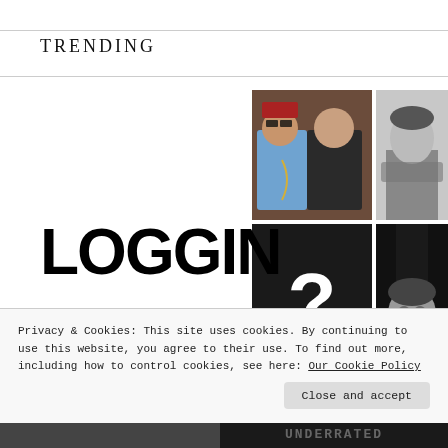Trending
[Figure (photo): Photo collage with LOGGIN text: top-left shows two male musicians/rappers, top-right shows a black and white portrait of a young man, bottom-left is a black square with a white question mark, bottom-right shows a black and white close-up portrait.]
Privacy & Cookies: This site uses cookies. By continuing to use this website, you agree to their use. To find out more, including how to control cookies, see here: Our Cookie Policy
Close and accept